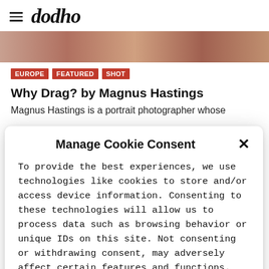dodho
[Figure (photo): Partial view of a photograph showing people, cropped at the top of the page]
EUROPE
FEATURED
SHOT
Why Drag? by Magnus Hastings
Magnus Hastings is a portrait photographer whose
Manage Cookie Consent
To provide the best experiences, we use technologies like cookies to store and/or access device information. Consenting to these technologies will allow us to process data such as browsing behavior or unique IDs on this site. Not consenting or withdrawing consent, may adversely affect certain features and functions. More Info
Accept